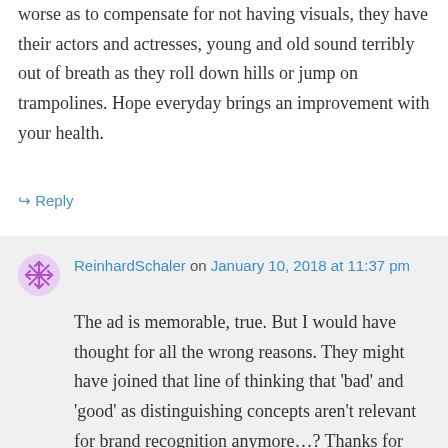worse as to compensate for not having visuals, they have their actors and actresses, young and old sound terribly out of breath as they roll down hills or jump on trampolines. Hope everyday brings an improvement with your health.
↳ Reply
ReinhardSchaler on January 10, 2018 at 11:37 pm
The ad is memorable, true. But I would have thought for all the wrong reasons. They might have joined that line of thinking that 'bad' and 'good' as distinguishing concepts aren't relevant for brand recognition anymore…? Thanks for your